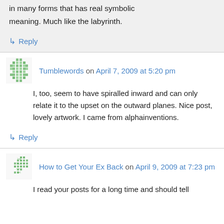in many forms that has real symbolic meaning. Much like the labyrinth.
↳ Reply
Tumblewords on April 7, 2009 at 5:20 pm
I, too, seem to have spiralled inward and can only relate it to the upset on the outward planes. Nice post, lovely artwork. I came from alphainventions.
↳ Reply
How to Get Your Ex Back on April 9, 2009 at 7:23 pm
I read your posts for a long time and should tell